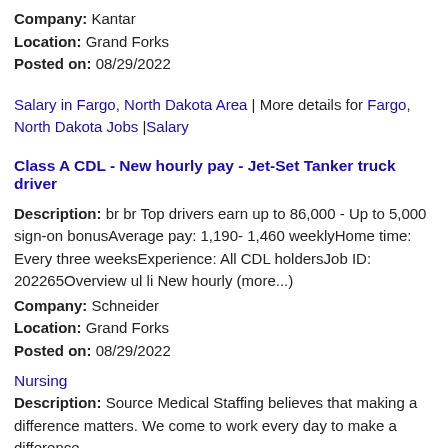Company: Kantar
Location: Grand Forks
Posted on: 08/29/2022
Salary in Fargo, North Dakota Area | More details for Fargo, North Dakota Jobs |Salary
Class A CDL - New hourly pay - Jet-Set Tanker truck driver
Description: br br Top drivers earn up to 86,000 - Up to 5,000 sign-on bonusAverage pay: 1,190- 1,460 weeklyHome time: Every three weeksExperience: All CDL holdersJob ID: 2022650verview ul li New hourly (more...)
Company: Schneider
Location: Grand Forks
Posted on: 08/29/2022
Nursing
Description: Source Medical Staffing believes that making a difference matters. We come to work every day to make a difference,
Company: Source Medical Staffing, LLC
Location: Grand Forks
Posted on: 08/29/2022